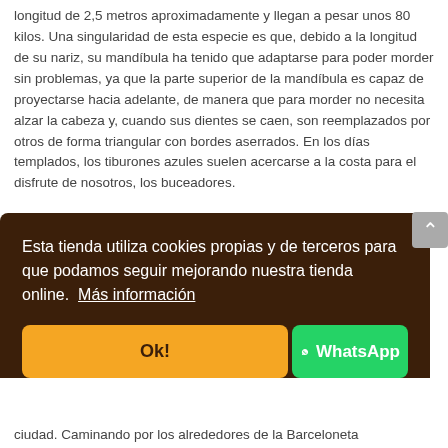longitud de 2,5 metros aproximadamente y llegan a pesar unos 80 kilos. Una singularidad de esta especie es que, debido a la longitud de su nariz, su mandíbula ha tenido que adaptarse para poder morder sin problemas, ya que la parte superior de la mandíbula es capaz de proyectarse hacia adelante, de manera que para morder no necesita alzar la cabeza y, cuando sus dientes se caen, son reemplazados por otros de forma triangular con bordes aserrados. En los días templados, los tiburones azules suelen acercarse a la costa para el disfrute de nosotros, los buceadores.
Ya que hablamos de tirarnos al agua… ¿Dónde fue mi …
Esta tienda utiliza cookies propias y de terceros para que podamos seguir mejorando nuestra tienda online.  Más información
Ok!
WhatsApp
ciudad. Caminando por los alrededores de la Barceloneta